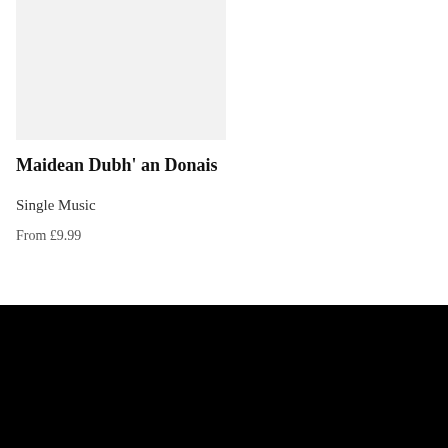[Figure (photo): Album art placeholder — light grey rectangle]
Maidean Dubh' an Donais
Single Music
From £9.99
Contact
Macmeanmna Ltd, Burnbrae, Staffin Road, Portree, Isle of Skye IV51 9HR